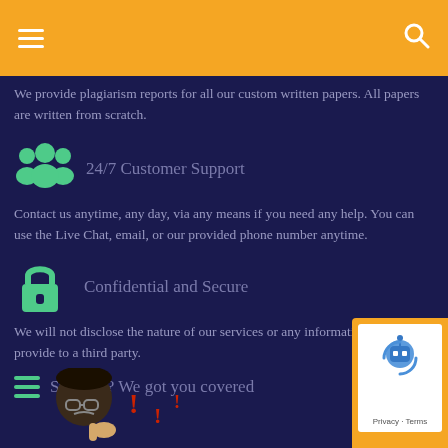We provide plagiarism reports for all our custom written papers. All papers are written from scratch.
24/7 Customer Support
Contact us anytime, any day, via any means if you need any help. You can use the Live Chat, email, or our provided phone number anytime.
Confidential and Secure
We will not disclose the nature of our services or any information you provide to a third party.
Stressed? We got you covered
[Figure (illustration): Cartoon illustration of a stressed person with red exclamation marks]
[Figure (other): reCAPTCHA verification widget with robot checkbox icon, Privacy and Terms text]